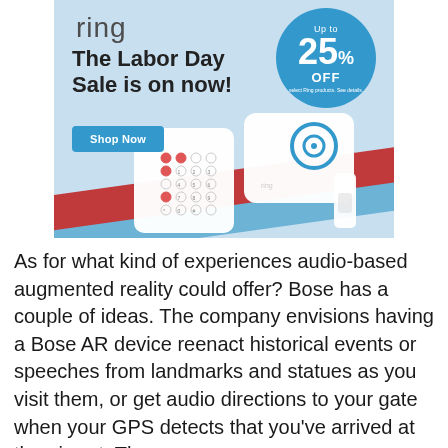[Figure (infographic): Ring brand advertisement: light blue background with red and blue diagonal stripes, Ring logo top-left, 'The Labor Day Sale is on now!' headline, teal 'Shop Now' button, blue circle with 'Up to 25% OFF' text, and product images of Ring alarm devices (keypad, base station, contact sensor) in the foreground.]
As for what kind of experiences audio-based augmented reality could offer? Bose has a couple of ideas. The company envisions having a Bose AR device reenact historical events or speeches from landmarks and statues as you visit them, or get audio directions to your gate when your GPS detects that you've arrived at the airport. The